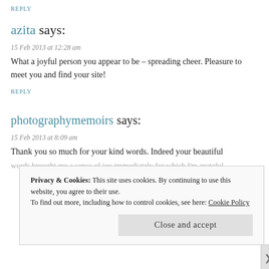REPLY
azita says:
15 Feb 2013 at 12:28 am
What a joyful person you appear to be – spreading cheer. Pleasure to meet you and find your site!
REPLY
photographymemoirs says:
15 Feb 2013 at 8:09 am
Thank you so much for your kind words. Indeed your beautiful words brought me a sense of joy immediately for which I'm grateful
Privacy & Cookies: This site uses cookies. By continuing to use this website, you agree to their use. To find out more, including how to control cookies, see here: Cookie Policy
Close and accept